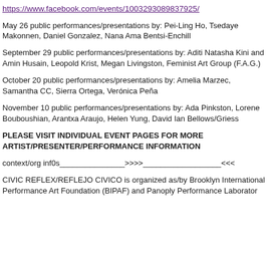https://www.facebook.com/events/100329308983792​5/
May 26 public performances/presentations by: Pei-Ling Ho, Tsedaye Makonnen, Daniel Gonzalez, Nana Ama Bentsi-Enchill
September 29 public performances/presentations by: Aditi Natasha Kini and Amin Husain, Leopold Krist, Megan Livingston, Feminist Art Group (F.A.G.)
October 20 public performances/presentations by: Amelia Marzec, Samantha CC, Sierra Ortega, Verónica Peña
November 10 public performances/presentations by: Ada Pinkston, Lorene Bouboushian, Arantxa Araujo, Helen Yung, David Ian Bellows/Griess
PLEASE VISIT INDIVIDUAL EVENT PAGES FOR MORE ARTIST/PRESENTER/PERFORMANCE INFORMATION
context/org inf0s_______________>>>>__________________<<<
CIVIC REFLEX/REFLEJO CIVICO is organized as/by Brooklyn International Performance Art Foundation (BIPAF) and Panoply Performance Laboratory